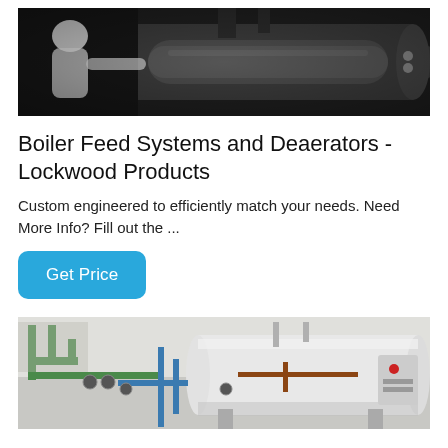[Figure (photo): Industrial boiler or turbine equipment, dark metallic machinery with pipes, worker in white protective clothing visible at left]
Boiler Feed Systems and Deaerators - Lockwood Products
Custom engineered to efficiently match your needs. Need More Info? Fill out the ...
Get Price
[Figure (photo): Industrial boiler system with white cylindrical tank, green and blue piping, gauges and fittings, mounted in white room]